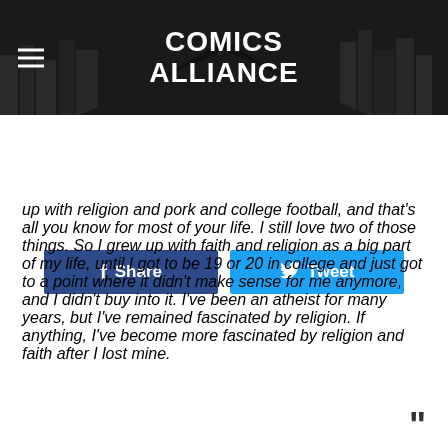Comics Alliance
Share
Tweet
up with religion and pork and college football, and that's all you know for most of your life. I still love two of those things. So I grew up with faith and religion as a big part of my life, until I got to be 19 or 20 in college and just got to a point where it didn't make sense for me anymore, and I didn't buy into it. I've been an atheist for many years, but I've remained fascinated by religion. If anything, I've become more fascinated by religion and faith after I lost mine.